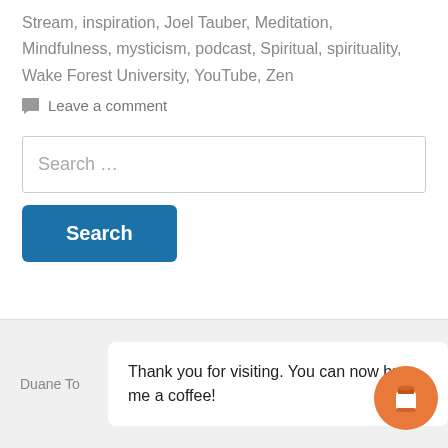Stream, inspiration, Joel Tauber, Meditation, Mindfulness, mysticism, podcast, Spiritual, spirituality, Wake Forest University, YouTube, Zen
Leave a comment
Search …
Search
Duane To
Thank you for visiting. You can now buy me a coffee!